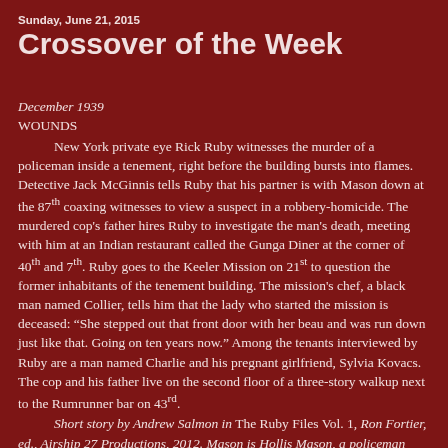Sunday, June 21, 2015
Crossover of the Week
December 1939
WOUNDS
New York private eye Rick Ruby witnesses the murder of a policeman inside a tenement, right before the building bursts into flames. Detective Jack McGinnis tells Ruby that his partner is with Mason down at the 87th coaxing witnesses to view a suspect in a robbery-homicide. The murdered cop's father hires Ruby to investigate the man's death, meeting with him at an Indian restaurant called the Gunga Diner at the corner of 40th and 7th. Ruby goes to the Keeler Mission on 21st to question the former inhabitants of the tenement building. The mission's chef, a black man named Collier, tells him that the lady who started the mission is deceased: “She stepped out that front door with her beau and was run down just like that. Going on ten years now.” Among the tenants interviewed by Ruby are a man named Charlie and his pregnant girlfriend, Sylvia Kovacs. The cop and his father live on the second floor of a three-story walkup next to the Rumrunner bar on 43rd.
Short story by Andrew Salmon in The Ruby Files Vol. 1, Ron Fortier, ed., Airship 27 Productions, 2012. Mason is Hollis Mason, a policeman who also operated as a masked vigilante known as Nite-Owl,